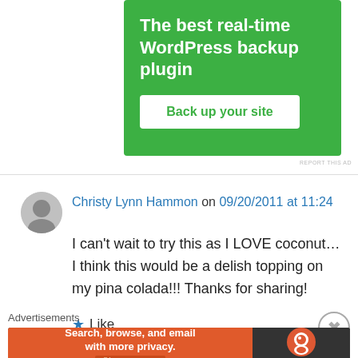[Figure (screenshot): Green advertisement banner for WordPress backup plugin with 'Back up your site' button]
REPORT THIS AD
Christy Lynn Hammon on 09/20/2011 at 11:24
I can't wait to try this as I LOVE coconut… I think this would be a delish topping on my pina colada!!! Thanks for sharing!
★ Like
Advertisements
[Figure (screenshot): DuckDuckGo advertisement banner: Search, browse, and email with more privacy. All in One Free App]